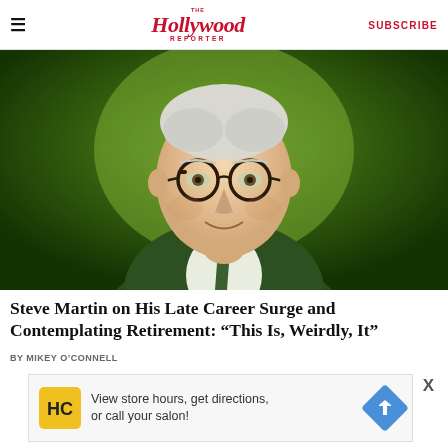The Hollywood Reporter | SUBSCRIBE
[Figure (photo): Portrait photo of Steve Martin, an elderly white-haired man wearing dark round glasses, a dark green jacket, white shirt, and green tie, posed against a green gradient background, smiling slightly.]
Steve Martin on His Late Career Surge and Contemplating Retirement: “This Is, Weirdly, It”
BY MIKEY O’CONNELL
[Figure (infographic): Advertisement banner: HC logo icon in yellow square, text reading 'View store hours, get directions, or call your salon!', blue diamond arrow icon, and close X button. Below: play and dismiss icons.]